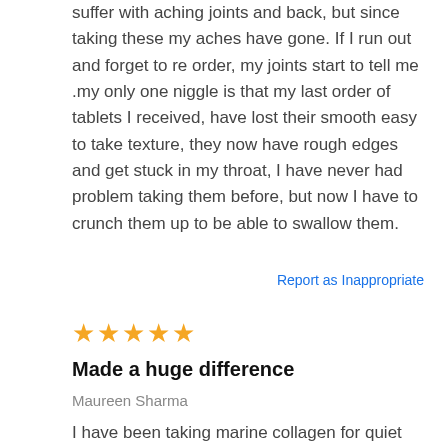suffer with aching joints and back, but since taking these my aches have gone. If I run out and forget to re order, my joints start to tell me .my only one niggle is that my last order of tablets I received, have lost their smooth easy to take texture, they now have rough edges and get stuck in my throat, I have never had problem taking them before, but now I have to crunch them up to be able to swallow them.
Report as Inappropriate
[Figure (other): 5 orange stars rating]
Made a huge difference
Maureen Sharma
I have been taking marine collagen for quiet sometime and have noticed a huge change in my skin, hair and nails. Nails tends to be much stronger